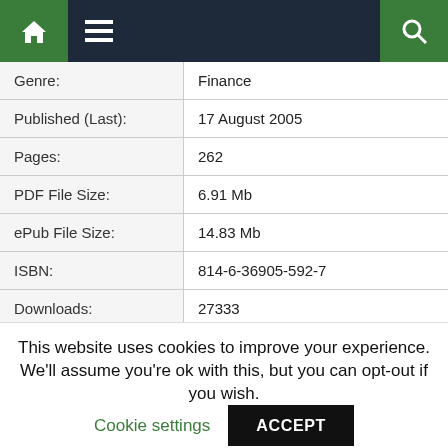[Figure (screenshot): Navigation bar with home icon, hamburger menu icon, and search icon on dark navy background with green home and search buttons]
| Genre: | Finance |
| Published (Last): | 17 August 2005 |
| Pages: | 262 |
| PDF File Size: | 6.91 Mb |
| ePub File Size: | 14.83 Mb |
| ISBN: | 814-6-36905-592-7 |
| Downloads: | 27333 |
| Price: | Free* [*Free Regsitration Required] |
This website uses cookies to improve your experience. We'll assume you're ok with this, but you can opt-out if you wish.
Cookie settings   ACCEPT